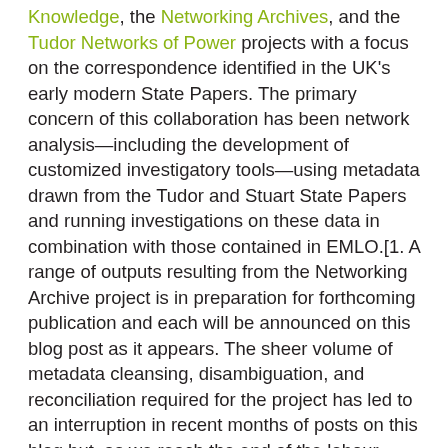Knowledge, the Networking Archives, and the Tudor Networks of Power projects with a focus on the correspondence identified in the UK's early modern State Papers. The primary concern of this collaboration has been network analysis—including the development of customized investigatory tools—using metadata drawn from the Tudor and Stuart State Papers and running investigations on these data in combination with those contained in EMLO.[1. A range of outputs resulting from the Networking Archive project is in preparation for forthcoming publication and each will be announced on this blog post as it appears. The sheer volume of metadata cleansing, disambiguation, and reconciliation required for the project has led to an interruption in recent months of posts on this blog but, as we reach the end of the labour-intensive task and transition into a new phase, this will be remedied.] As a result of the data-cleaning conducted during the initiative, a number of 'starter catalogues' are emerging at